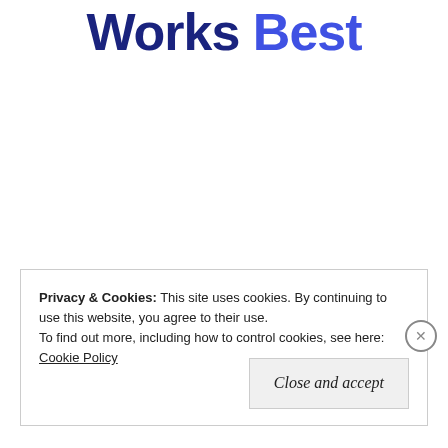Works Best
[Figure (other): Blue button with text SEE PRICING]
Privacy & Cookies: This site uses cookies. By continuing to use this website, you agree to their use.
To find out more, including how to control cookies, see here:
Cookie Policy
Close and accept